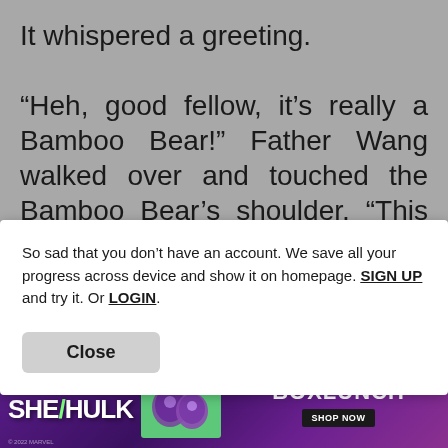It whispered a greeting.
“Heh, good fellow, it’s really a Bamboo Bear!” Father Wang walked over and touched the Bamboo Bear’s shoulder, “This shoulder is full of strength! It’s hard! This is a soul not a true
So sad that you don’t have an account. We save all your progress across device and show it on homepage. SIGN UP and try it. Or LOGIN.
Close
Wang said, “It’ll be good at giving birth.
“Are you choosing a wife?” Mother Wang
[Figure (screenshot): Advertisement banner for She-Hulk Marvel Studios x BoxLunch collaboration with Shop Now button]